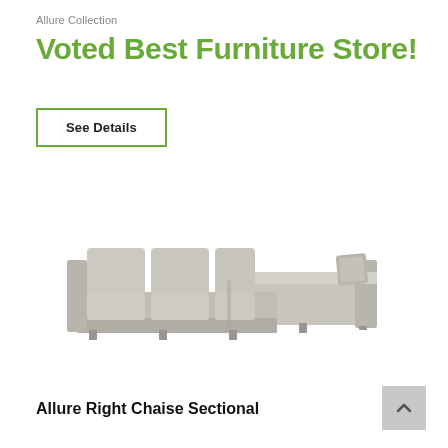Allure Collection
Voted Best Furniture Store!
See Details
[Figure (photo): A light beige/gray sectional sofa with right chaise, featuring three seat cushions, two back cushions on the left, and one decorative pillow on the right arm. The sofa has clean modern lines with a low profile and small block feet.]
Allure Right Chaise Sectional